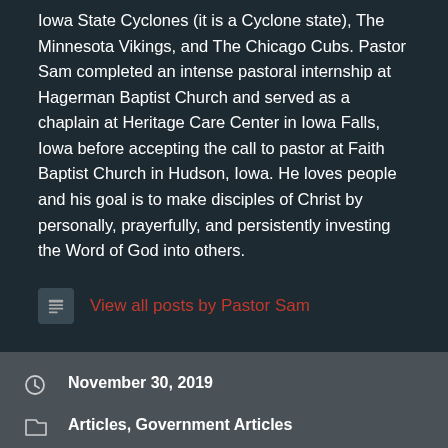Iowa State Cyclones (it is a Cyclone state), The Minnesota Vikings, and The Chicago Cubs. Pastor Sam completed an intense pastoral internship at Hagerman Baptist Church and served as a chaplain at Heritage Care Center in Iowa Falls, Iowa before accepting the call to pastor at Faith Baptist Church in Hudson, Iowa. He loves people and his goal is to make disciples of Christ by personally, prayerfully, and persistently investing the Word of God into others.
View all posts by Pastor Sam
November 30, 2019
Articles, Government Articles
black robe regiment, black robed regiment, freedom, freedom and virtue, freedom of religion,